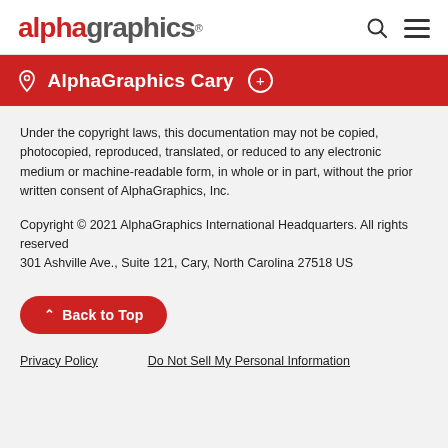alphagraphics
AlphaGraphics Cary
Under the copyright laws, this documentation may not be copied, photocopied, reproduced, translated, or reduced to any electronic medium or machine-readable form, in whole or in part, without the prior written consent of AlphaGraphics, Inc.
Copyright © 2021 AlphaGraphics International Headquarters. All rights reserved
301 Ashville Ave., Suite 121, Cary, North Carolina 27518 US
Back to Top
Privacy Policy   Do Not Sell My Personal Information